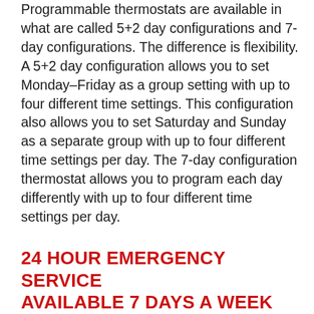Programmable thermostats are available in what are called 5+2 day configurations and 7-day configurations. The difference is flexibility. A 5+2 day configuration allows you to set Monday–Friday as a group setting with up to four different time settings. This configuration also allows you to set Saturday and Sunday as a separate group with up to four different time settings per day. The 7-day configuration thermostat allows you to program each day differently with up to four different time settings per day.
24 HOUR EMERGENCY SERVICE AVAILABLE 7 DAYS A WEEK